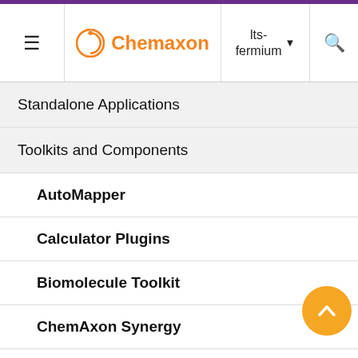Chemaxon | lts-fermium
Standalone Applications
Toolkits and Components
AutoMapper
Calculator Plugins
Biomolecule Toolkit
ChemAxon Synergy
Document to Structure
JChem Base
JChem Choral